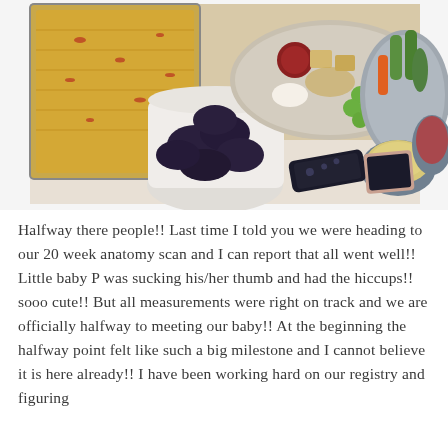[Figure (photo): A table spread with party food including a large casserole dish with melted cheese on top, a white bowl of dark blue/purple tortilla chips, a platter with grapes, salami, crackers, cream cheese, and other charcuterie items, a bowl of raw vegetables (cucumbers, carrots, snap peas), a small bowl of hummus, a small dish with a cranberry-topped item, a TV remote control, and a smartphone.]
Halfway there people!! Last time I told you we were heading to our 20 week anatomy scan and I can report that all went well!! Little baby P was sucking his/her thumb and had the hiccups!! sooo cute!! But all measurements were right on track and we are officially halfway to meeting our baby!! At the beginning the halfway point felt like such a big milestone and I cannot believe it is here already!! I have been working hard on our registry and figuring